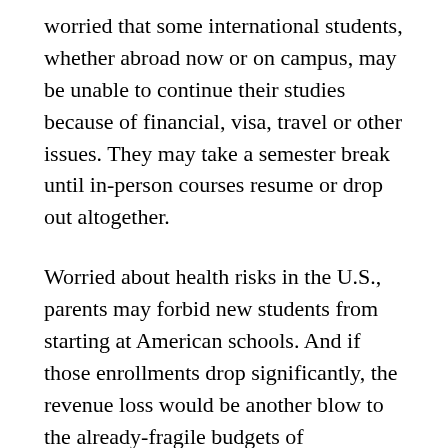worried that some international students, whether abroad now or on campus, may be unable to continue their studies because of financial, visa, travel or other issues. They may take a semester break until in-person courses resume or drop out altogether.
Worried about health risks in the U.S., parents may forbid new students from starting at American schools. And if those enrollments drop significantly, the revenue loss would be another blow to the already-fragile budgets of universities battered by the health emergency.
Many American universities may lose up to 25 percent of their international enrollment, according to Brad F... the vice president for global be...ment at the